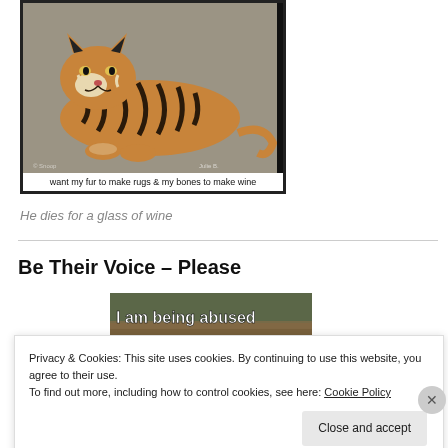[Figure (photo): A tiger lying down, with caption text at bottom: 'want my fur to make rugs & my bones to make wine']
He dies for a glass of wine
Be Their Voice – Please
[Figure (photo): Image with bold text overlay: 'I am being abused Will you be my voice?']
Privacy & Cookies: This site uses cookies. By continuing to use this website, you agree to their use.
To find out more, including how to control cookies, see here: Cookie Policy
Close and accept